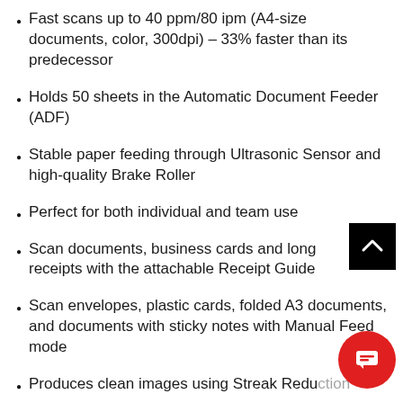Fast scans up to 40 ppm/80 ipm (A4-size documents, color, 300dpi) – 33% faster than its predecessor
Holds 50 sheets in the Automatic Document Feeder (ADF)
Stable paper feeding through Ultrasonic Sensor and high-quality Brake Roller
Perfect for both individual and team use
Scan documents, business cards and long receipts with the attachable Receipt Guide
Scan envelopes, plastic cards, folded A3 documents, and documents with sticky notes with Manual Feed mode
Produces clean images using Streak Reduction